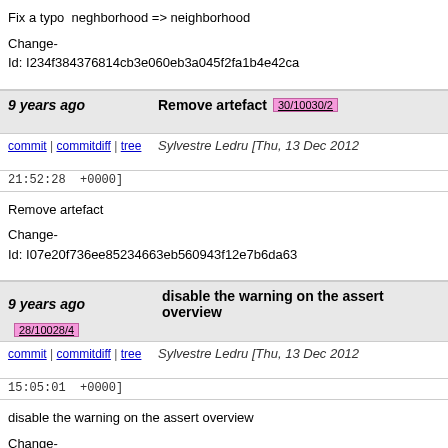Fix a typo  neghborhood => neighborhood

Change-Id: I234f384376814cb3e060eb3a045f2fa1b4e42ca
9 years ago   Remove artefact   30/10030/2
commit | commitdiff | tree   Sylvestre Ledru [Thu, 13 Dec 2012 21:52:28 +0000]
Remove artefact

Change-Id: I07e20f736ee85234663eb560943f12e7b6da63
9 years ago   disable the warning on the assert overview   28/10028/4
commit | commitdiff | tree   Sylvestre Ledru [Thu, 13 Dec 2012 15:05:01 +0000]
disable the warning on the assert overview

Change-Id: I41a672b5c9f63c5d7cb56199514485872fb185
9 years ago   Add an example for tauss_chinfo